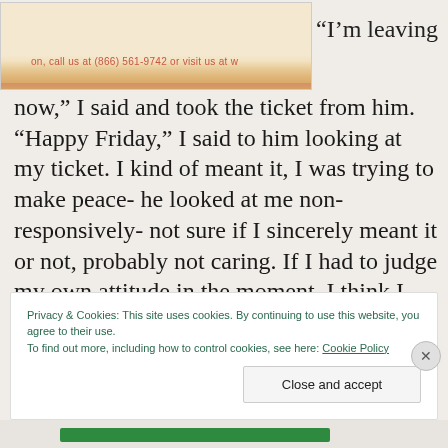[Figure (photo): Partial image of a ticket or document with pink border at bottom, red text visible]
“I’m leaving now,” I said and took the ticket from him. “Happy Friday,” I said to him looking at my ticket. I kind of meant it, I was trying to make peace- he looked at me non-responsively- not sure if I sincerely meant it or not, probably not caring. If I had to judge my own attitude in the moment, I think I definitely meant it more sarcastically.
Privacy & Cookies: This site uses cookies. By continuing to use this website, you agree to their use.
To find out more, including how to control cookies, see here: Cookie Policy